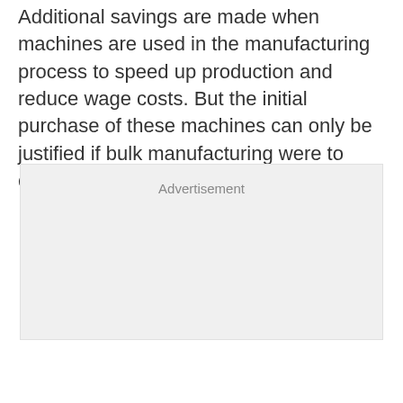Additional savings are made when machines are used in the manufacturing process to speed up production and reduce wage costs. But the initial purchase of these machines can only be justified if bulk manufacturing were to ensue.
[Figure (other): Advertisement placeholder box with light gray background and the label 'Advertisement' centered near the top.]